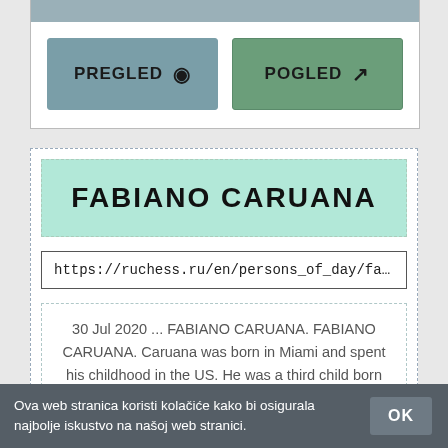[Figure (screenshot): Top portion of a web UI card with a grey top bar and two buttons labeled PREGLED (with eye icon) and POGLED (with external link icon)]
FABIANO CARUANA
https://ruchess.ru/en/persons_of_day/fabiano_caru
30 Jul 2020 ... FABIANO CARUANA. FABIANO CARUANA. Caruana was born in Miami and spent his childhood in the US. He was a third child born into a large ...
Ova web stranica koristi kolačiće kako bi osigurala najbolje iskustvo na našoj web stranici.